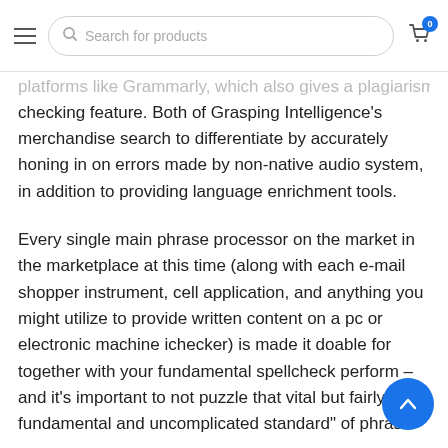Search for products | Cart: 0
platforms like Grammarly, which also gives a plagiarism-checking feature. Both of Grasping Intelligence's merchandise search to differentiate by accurately honing in on errors made by non-native audio system, in addition to providing language enrichment tools.
Every single main phrase processor on the market in the marketplace at this time (along with each e-mail shopper instrument, cell application, and anything you might utilize to provide written content on a pc or electronic machine ichecker) is made it doable for together with your fundamental spellcheck perform – and it's important to not puzzle that vital but fairly fundamental and uncomplicated standard" of phrase